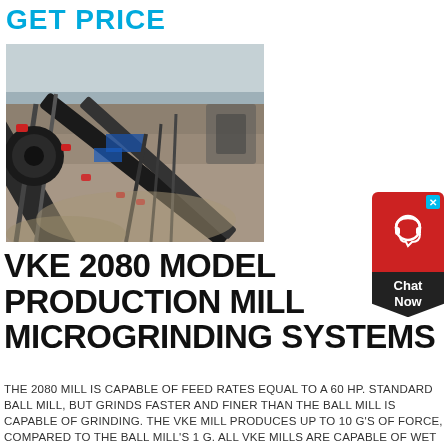GET PRICE
[Figure (photo): Aerial view of an industrial quarry or mining site with conveyor belts carrying gravel/aggregate material, heavy machinery visible in the background.]
[Figure (other): Chat Now widget with red background, headset icon, and dark chevron shape with 'Chat Now' label.]
VKE 2080 MODEL PRODUCTION MILL MICROGRINDING SYSTEMS
THE 2080 MILL IS CAPABLE OF FEED RATES EQUAL TO A 60 HP. STANDARD BALL MILL, BUT GRINDS FASTER AND FINER THAN THE BALL MILL IS CAPABLE OF GRINDING. THE VKE MILL PRODUCES UP TO 10 G'S OF FORCE, COMPARED TO THE BALL MILL'S 1 G. ALL VKE MILLS ARE CAPABLE OF WET OR DRY GRINDING, AND CONTINUOUS